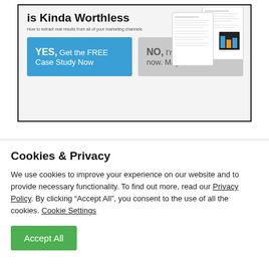[Figure (screenshot): A modal/popup screenshot showing a partial title 'is Kinda Worthless', subtitle 'How to extract real results from all of your marketing channels', a blue YES button 'YES, Get the FREE Case Study Now', a gray NO button 'NO, I'm all set for right now. Maybe later.', and decorative document thumbnail images in the upper right.]
Cookies & Privacy
We use cookies to improve your experience on our website and to provide necessary functionality. To find out more, read our Privacy Policy. By clicking “Accept All”, you consent to the use of all the cookies. Cookie Settings